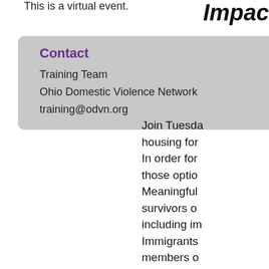This is a virtual event.
Contact
Training Team
Ohio Domestic Violence Network
training@odvn.org
Impac
Join Tuesda housing for In order for those optio Meaningful survivors o including im Immigrants members o Color (BIPC disabilities